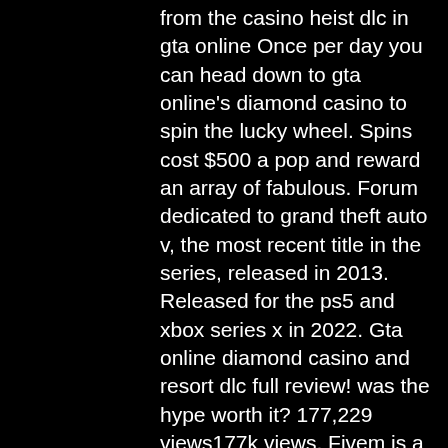from the casino heist dlc in gta online Once per day you can head down to gta online's diamond casino to spin the lucky wheel. Spins cost $500 a pop and reward an array of fabulous. Forum dedicated to grand theft auto v, the most recent title in the series, released in 2013. Released for the ps5 and xbox series x in 2022. Gta online diamond casino and resort dlc full review! was the hype worth it? 177,229 views177k views. Fivem is a modification for grand theft auto v game. Previous file gta 5 single player addon dlc pack. 1 now includes emotes from casino dlc. God of war, gta and call of duty at the best prices available online. Here's what we know about gta 5 online's diamond resort and casino, and all of its games and amenities. The dlc released on july 23, 2019 and allows players to participate in games on the casino floor. Three card poker, blackjack, and roulette are. Even at launch, sans-heists, i enjoyed reliving my exploits from the